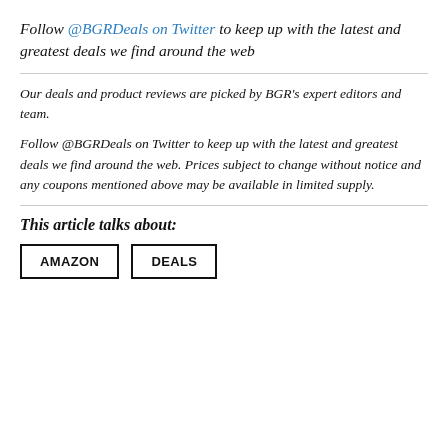Follow @BGRDeals on Twitter to keep up with the latest and greatest deals we find around the web
Our deals and product reviews are picked by BGR's expert editors and team.
Follow @BGRDeals on Twitter to keep up with the latest and greatest deals we find around the web. Prices subject to change without notice and any coupons mentioned above may be available in limited supply.
This article talks about:
AMAZON
DEALS